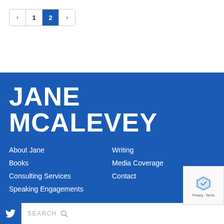Pagination: < 1 2 >
JANE MCALEVEY
About Jane
Books
Consulting Services
Speaking Engagements
Writing
Media Coverage
Contact
NEWSLETTER SIGNUP
EMAIL ADDRESS
GET UPDATES
SEARCH